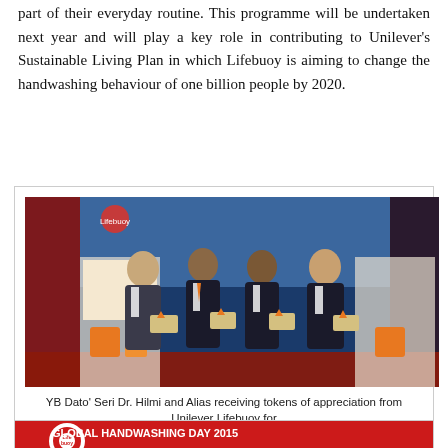part of their everyday routine. This programme will be undertaken next year and will play a key role in contributing to Unilever's Sustainable Living Plan in which Lifebuoy is aiming to change the handwashing behaviour of one billion people by 2020.
[Figure (photo): Four men in formal attire standing on a stage holding tokens/awards, in front of Lifebuoy branded banners and displays at an event.]
YB Dato' Seri Dr. Hilmi and Alias receiving tokens of appreciation from Unilever Lifebuoy for their continuous support of the Program Doctor Muda bersama Lifebuoy
[Figure (infographic): Lifebuoy Global Handwashing Day 2015 infographic. Header reads: GLOBAL HANDWASHING DAY 2015. Subtitle: Lifebuoy continues to educate Malaysians to stay healthy through simple behavioral change of hand washing. Two sections shown: 1. Why is hand washing important? 2. Proper handwashing techniques.]